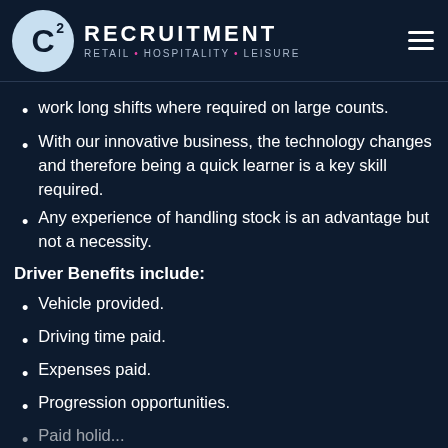[Figure (logo): C2 Recruitment logo with circle containing C2 symbol, brand name RECRUITMENT and tagline RETAIL • HOSPITALITY • LEISURE]
work long shifts where required on large counts.
With our innovative business, the technology changes and therefore being a quick learner is a key skill required.
Any experience of handling stock is an advantage but not a necessity.
Driver Benefits include:
Vehicle provided.
Driving time paid.
Expenses paid.
Progression opportunities.
Paid holidays...